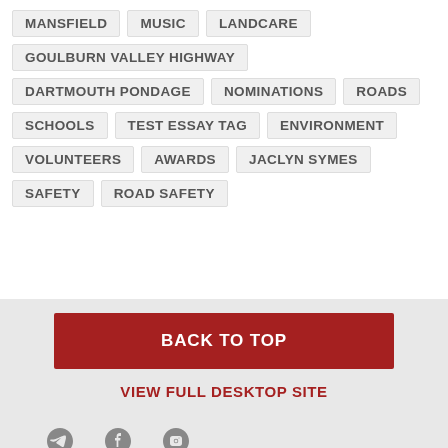MANSFIELD
MUSIC
LANDCARE
GOULBURN VALLEY HIGHWAY
DARTMOUTH PONDAGE
NOMINATIONS
ROADS
SCHOOLS
TEST ESSAY TAG
ENVIRONMENT
VOLUNTEERS
AWARDS
JACLYN SYMES
SAFETY
ROAD SAFETY
BACK TO TOP
VIEW FULL DESKTOP SITE